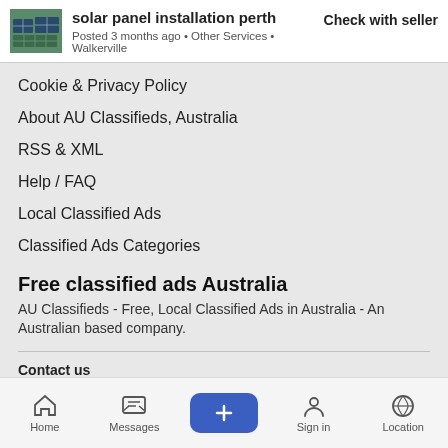solar panel installation perth | Posted 3 months ago • Other Services • Walkerville | Check with seller
Cookie & Privacy Policy
About AU Classifieds, Australia
RSS & XML
Help / FAQ
Local Classified Ads
Classified Ads Categories
Free classified ads Australia
AU Classifieds - Free, Local Classified Ads in Australia - An Australian based company.
Contact us
Copyright © 2022 AU Classifieds All rights reserved.
Home | Messages | + | Sign in | Location